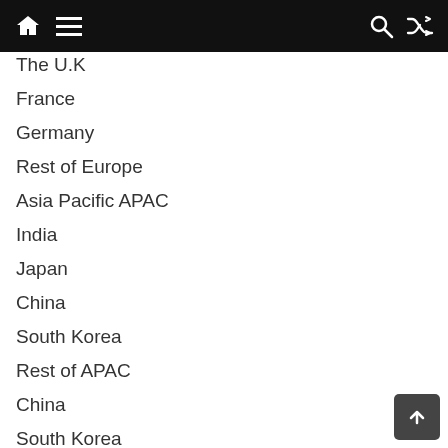Navigation bar with home, menu, search, and shuffle icons
The U.K
France
Germany
Rest of Europe
Asia Pacific APAC
India
Japan
China
South Korea
Rest of APAC
China
South Korea
Middle East and Africa MEA
UAE
South Africa
Rest of MEA